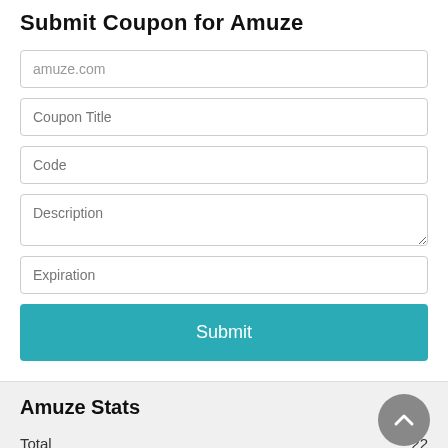Submit Coupon for Amuze
amuze.com
Coupon Title
Code
Description
Expiration
Submit
Amuze Stats
Total  22
Promo Codes  1
Deals  21
Max Discount  85%